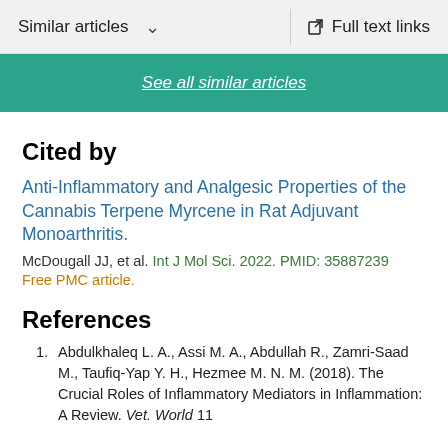Similar articles   Full text links
See all similar articles
Cited by
Anti-Inflammatory and Analgesic Properties of the Cannabis Terpene Myrcene in Rat Adjuvant Monoarthritis.
McDougall JJ, et al. Int J Mol Sci. 2022. PMID: 35887239
Free PMC article.
References
Abdulkhaleq L. A., Assi M. A., Abdullah R., Zamri-Saad M., Taufiq-Yap Y. H., Hezmee M. N. M. (2018). The Crucial Roles of Inflammatory Mediators in Inflammation: A Review. Vet. World 11